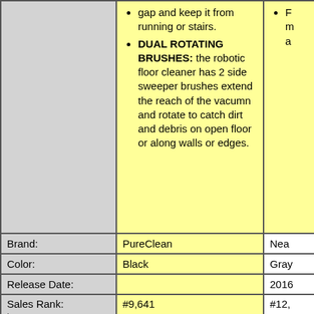gap and keep it from running of stairs.
DUAL ROTATING BRUSHES: the robotic floor cleaner has 2 side sweeper brushes extend the reach of the vacumn and rotate to catch dirt and debris on open floor or along walls or edges.
|  | PureClean | Nea... |
| --- | --- | --- |
| Brand: | PureClean | Nea... |
| Color: | Black | Gray... |
| Release Date: |  | 2016... |
| Sales Rank: | #9,641 | #12,... |